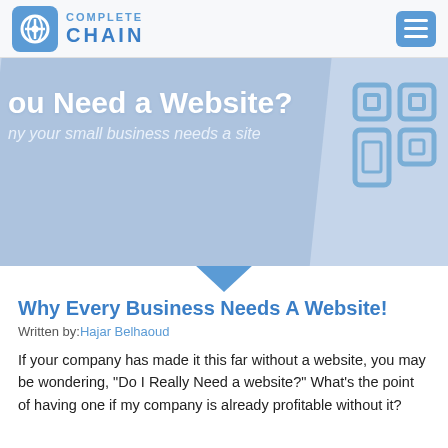[Figure (logo): Complete Chain logo with house icon and text 'COMPLETE CHAIN']
[Figure (illustration): Hero banner with slanted blue overlay showing partial text 'ou Need a Website?' and subtitle 'ny your small business needs a site', with a building/store icon on the right]
Why Every Business Needs A Website!
Written by: Hajar Belhaoud
If your company has made it this far without a website, you may be wondering, "Do I Really Need a website?" What's the point of having one if my company is already profitable without it?